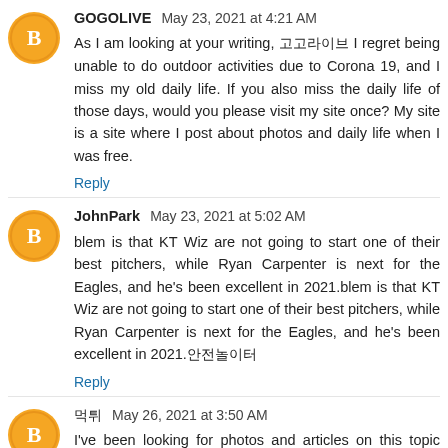GOGOLIVE May 23, 2021 at 4:21 AM
As I am looking at your writing, 고고라이브 I regret being unable to do outdoor activities due to Corona 19, and I miss my old daily life. If you also miss the daily life of those days, would you please visit my site once? My site is a site where I post about photos and daily life when I was free.
Reply
JohnPark May 23, 2021 at 5:02 AM
blem is that KT Wiz are not going to start one of their best pitchers, while Ryan Carpenter is next for the Eagles, and he's been excellent in 2021.blem is that KT Wiz are not going to start one of their best pitchers, while Ryan Carpenter is next for the Eagles, and he's been excellent in 2021.안전놀이터
Reply
먹튀 May 26, 2021 at 3:50 AM
I've been looking for photos and articles on this topic over...